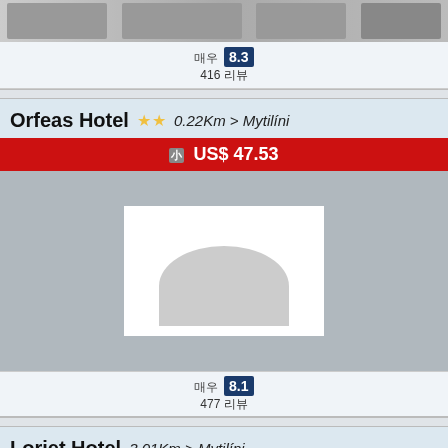[Figure (photo): Top strip showing hotel photos in thumbnail format]
매우 8.3 / 416 리뷰
Orfeas Hotel ★★ 0.22Km > Mytilíni
부터 US$ 47.53
[Figure (photo): Hotel image placeholder with grey background]
매우 8.1 / 477 리뷰
Loriet Hotel 3.01Km > Mytilíni
부터 US$ 107.28